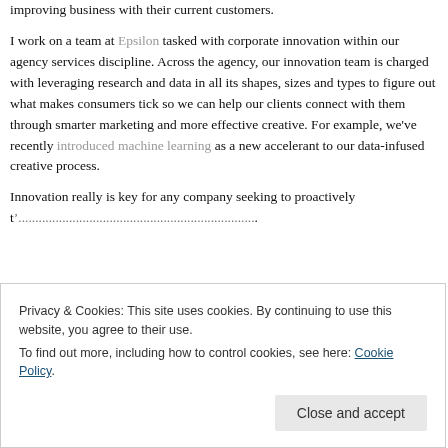improving business with their current customers.
I work on a team at Epsilon tasked with corporate innovation within our agency services discipline. Across the agency, our innovation team is charged with leveraging research and data in all its shapes, sizes and types to figure out what makes consumers tick so we can help our clients connect with them through smarter marketing and more effective creative. For example, we've recently introduced machine learning as a new accelerant to our data-infused creative process.
Innovation really is key for any company seeking to proactively t'...
Privacy & Cookies: This site uses cookies. By continuing to use this website, you agree to their use. To find out more, including how to control cookies, see here: Cookie Policy